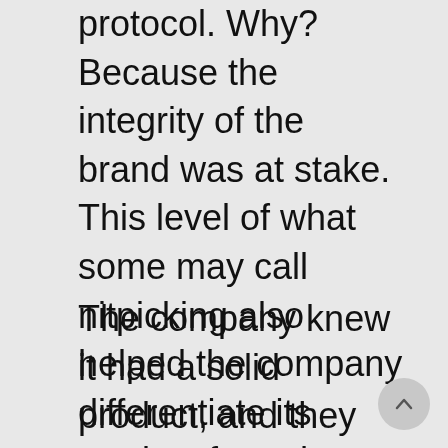protocol. Why? Because the integrity of the brand was at stake. This level of what some may call nitpicking also helped the company differentiate its product from the competition.
The company knew it had a solid product, and they knew they were differentiating themselves. The big question was, what else could they do to scale? How could they make Coca-Cola a household